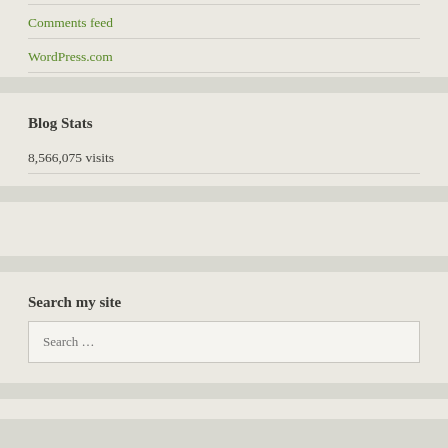Comments feed
WordPress.com
Blog Stats
8,566,075 visits
Search my site
Search …